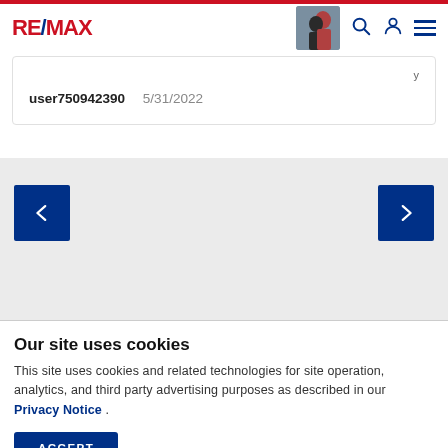RE/MAX
user750942390   5/31/2022
[Figure (screenshot): Navigation carousel with left and right arrow buttons on gray background]
Our site uses cookies
This site uses cookies and related technologies for site operation, analytics, and third party advertising purposes as described in our Privacy Notice .
ACCEPT